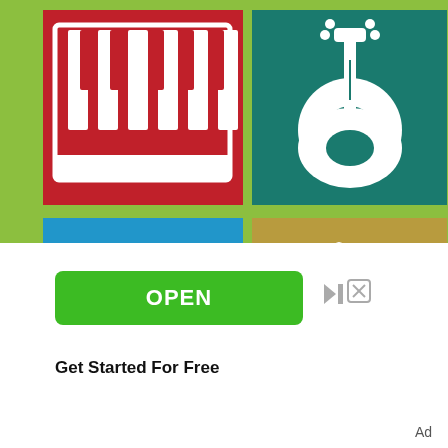[Figure (screenshot): App icon grid on green background showing 6 tiles: red piano keys tile, teal guitar tile, blue xylophone/marimba tile, gold birthday cake tile, and two partially visible tiles at bottom (blue and red). Below is an advertisement banner with a green OPEN button, close/skip icon, 'Get Started For Free' text, and 'Ad' label.]
OPEN
Get Started For Free
Ad